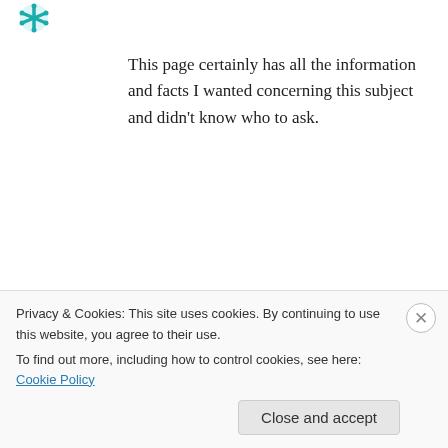[Figure (illustration): Teal/green snowflake or asterisk avatar icon in top-left corner]
This page certainly has all the information and facts I wanted concerning this subject and didn't know who to ask.
↳ Reply
Dolores on July 1, 2015 at 9:14 am
[Figure (illustration): Gray dotted circular avatar icon for Dolores]
When a remedy oriented strategy is used, mainly together with Movie – Star – Planet diamonds
Privacy & Cookies: This site uses cookies. By continuing to use this website, you agree to their use.
To find out more, including how to control cookies, see here: Cookie Policy
Close and accept